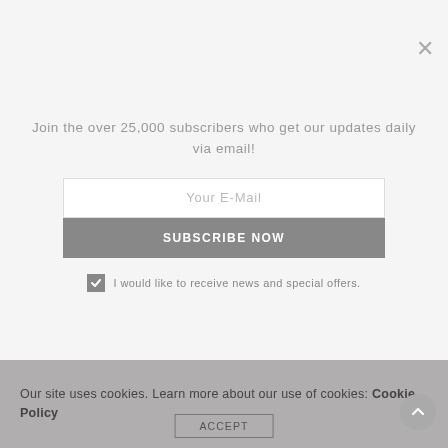[Figure (photo): Blurred landscape/background image at top of page]
Join the over 25,000 subscribers who get our updates daily via email!
Your E-Mail
SUBSCRIBE NOW
I would like to receive news and special offers.
Our site uses cookies. Learn more about our use of cookies: Cookie Policy
ACCEPT